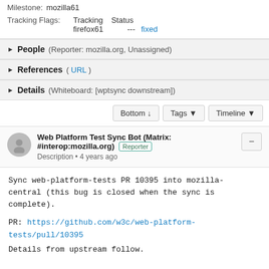Milestone: mozilla61
|  | Tracking | Status |
| --- | --- | --- |
| firefox61 | --- | fixed |
People (Reporter: mozilla.org, Unassigned)
References ( URL )
Details (Whiteboard: [wptsync downstream])
Bottom ↓   Tags ▼   Timeline ▼
Web Platform Test Sync Bot (Matrix: #interop:mozilla.org) Reporter
Description • 4 years ago
Sync web-platform-tests PR 10395 into mozilla-central (this bug is closed when the sync is complete).

PR: https://github.com/w3c/web-platform-tests/pull/10395
Details from upstream follow.